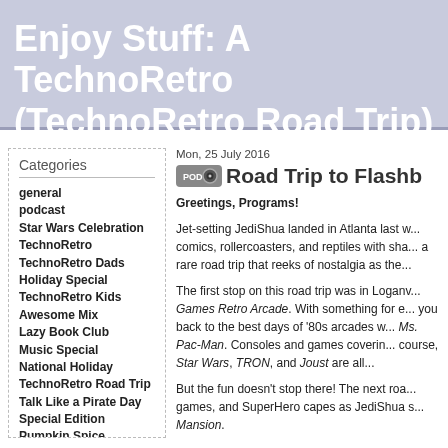Enjoy Stuff: A TechnoRetro... (TechnoRetro Road Trip)
Categories
general
podcast
Star Wars Celebration
TechnoRetro
TechnoRetro Dads
Holiday Special
TechnoRetro Kids
Awesome Mix
Lazy Book Club
Music Special
National Holiday
TechnoRetro Road Trip
Talk Like a Pirate Day
Special Edition
Pumpkin Spice
Enjoy Stuff
Mon, 25 July 2016
Road Trip to Flashb...
Greetings, Programs!
Jet-setting JediShua landed in Atlanta last w... comics, rollercoasters, and reptiles with sha... a rare road trip that reeks of nostalgia as the...
The first stop on this road trip was in Loganv... Games Retro Arcade. With something for e... you back to the best days of '80s arcades w... Ms. Pac-Man. Consoles and games coverin... course, Star Wars, TRON, and Joust are all...
But the fun doesn't stop there! The next roa... games, and SuperHero capes as JediShua s... Mansion.
Then the trio take a trip to Titan Comics and... the joys of their childhood with memories of... for pizza and another few hours at Flashbac... ("Snakes. Why did it have to be snakes?"), s... amphibians, arachnids, and sugar gliders...